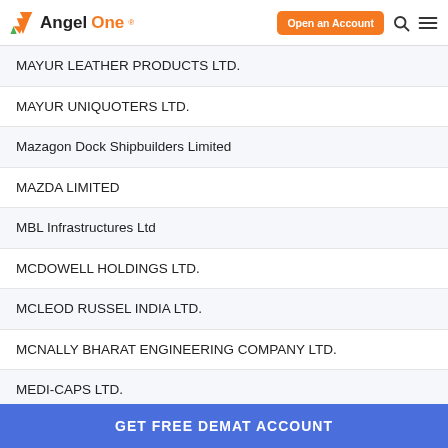AngelOne — Open an Account
MAYUR LEATHER PRODUCTS LTD.
MAYUR UNIQUOTERS LTD.
Mazagon Dock Shipbuilders Limited
MAZDA LIMITED
MBL Infrastructures Ltd
MCDOWELL HOLDINGS LTD.
MCLEOD RUSSEL INDIA LTD.
MCNALLY BHARAT ENGINEERING COMPANY LTD.
MEDI-CAPS LTD.
MEDIA MATRIX WORLDWIDE LTD.
GET FREE DEMAT ACCOUNT